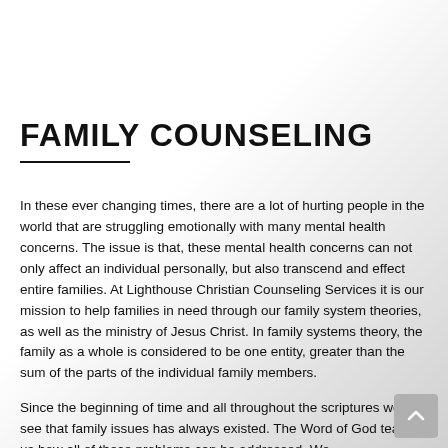FAMILY COUNSELING
In these ever changing times, there are a lot of hurting people in the world that are struggling emotionally with many mental health concerns.  The issue is that, these mental health concerns can not only  affect an individual personally, but also transcend and effect entire families. At Lighthouse Christian Counseling Services it is our mission to help families in need through our family system theories, as well as the ministry of Jesus Christ.  In family systems theory, the family as a whole is considered to be one entity, greater than the sum of the parts of the individual family members.
Since the beginning of time and all throughout the scriptures we can see that family issues has always existed.  The Word of God teaches us how all of these problems can be addressed.  We